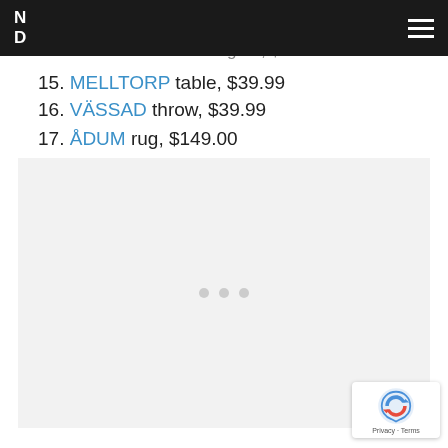ND (navigation bar with hamburger menu)
13. MOSSLANDA picture ledge, $9.99
14. GESTALTA artist's figure, $5.99
15. MELLTORP table, $39.99
16. VÄSSAD throw, $39.99
17. ÅDUM rug, $149.00
[Figure (photo): Loading image placeholder with three grey dots centered in a light grey box]